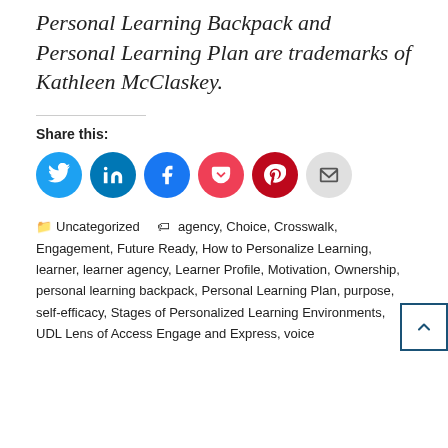Personal Learning Backpack and Personal Learning Plan are trademarks of Kathleen McClaskey.
Share this:
[Figure (infographic): Six social sharing circular icon buttons: Twitter (blue), LinkedIn (dark blue), Facebook (blue), Pocket (red-pink), Pinterest (dark red), Email (gray)]
Uncategorized  agency, Choice, Crosswalk, Engagement, Future Ready, How to Personalize Learning, learner, learner agency, Learner Profile, Motivation, Ownership, personal learning backpack, Personal Learning Plan, purpose, self-efficacy, Stages of Personalized Learning Environments, UDL Lens of Access Engage and Express, voice